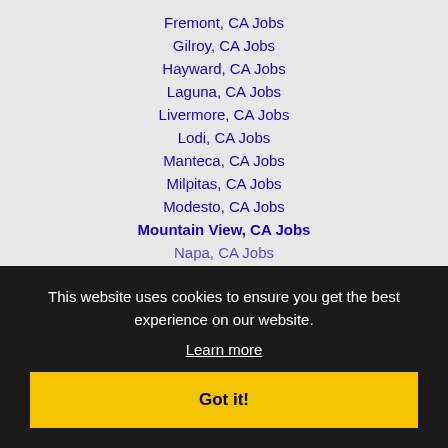Fremont, CA Jobs
Gilroy, CA Jobs
Hayward, CA Jobs
Laguna, CA Jobs
Livermore, CA Jobs
Lodi, CA Jobs
Manteca, CA Jobs
Milpitas, CA Jobs
Modesto, CA Jobs
Mountain View, CA Jobs
Napa, CA Jobs
Novato, CA Jobs
Oakley, Antioch, CA Jobs
Novato, CA Jobs
Oakland, CA Jobs
Palo Alto, CA Jobs
Parkway-South Sacramento, CA Jobs
Petaluma, CA Jobs
This website uses cookies to ensure you get the best experience on our website. Learn more
Got it!